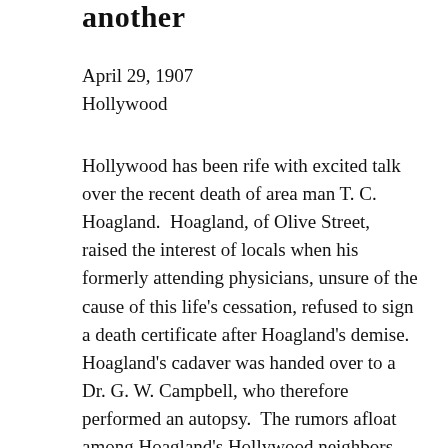another
April 29, 1907
Hollywood
Hollywood has been rife with excited talk over the recent death of area man T. C. Hoagland.  Hoagland, of Olive Street, raised the interest of locals when his formerly attending physicians, unsure of the cause of this life's cessation, refused to sign a death certificate after Hoagland's demise. Hoagland's cadaver was handed over to a Dr. G. W. Campbell, who therefore performed an autopsy.  The rumors afloat among Hoagland's Hollywood neighbors were lessened somewhat when it was revealed that there had been no foul play; rather, Hoagland had simply died of alcoholism.  This should have come as a surprise to no-one, given Hoagland's reputation for heavy drinking, but the rumors remain unquelled.